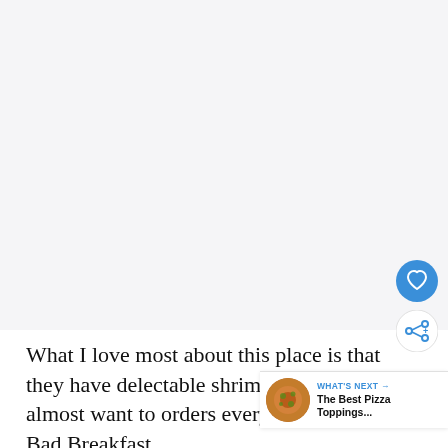[Figure (photo): Large image area, mostly blank/white — appears to be a photo of a restaurant or food item, shown as light gray placeholder]
What I love most about this place is that they have delectable shrimp and grits that I almost want to orders every time I visit Big Bad Breakfast.
[Figure (infographic): What's Next callout with circular food photo thumbnail and text: WHAT'S NEXT → The Best Pizza Toppings...]